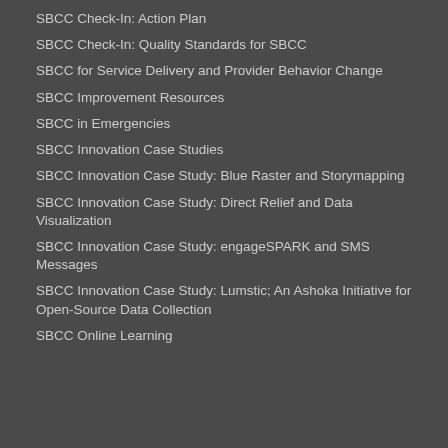SBCC Check-In: Action Plan
SBCC Check-In: Quality Standards for SBCC
SBCC for Service Delivery and Provider Behavior Change
SBCC Improvement Resources
SBCC in Emergencies
SBCC Innovation Case Studies
SBCC Innovation Case Study: Blue Raster and Storymapping
SBCC Innovation Case Study: Direct Relief and Data Visualization
SBCC Innovation Case Study: engageSPARK and SMS Messages
SBCC Innovation Case Study: Lumstic; An Ashoka Initiative for Open-Source Data Collection
SBCC Online Learning